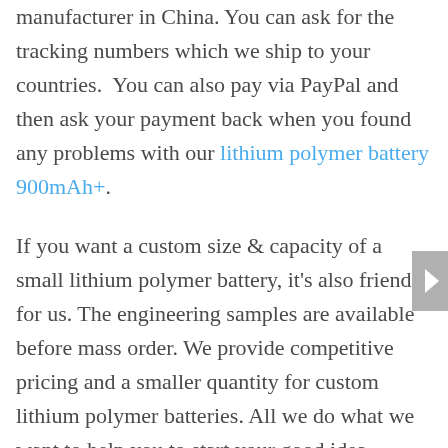manufacturer in China. You can ask for the tracking numbers which we ship to your countries.  You can also pay via PayPal and then ask your payment back when you found any problems with our lithium polymer battery 900mAh+.
If you want a custom size & capacity of a small lithium polymer battery, it's also friendly for us. The engineering samples are available before mass order. We provide competitive pricing and a smaller quantity for custom lithium polymer batteries. All we do what we want to help you to start your good idea.
Our lithium polymer battery with a